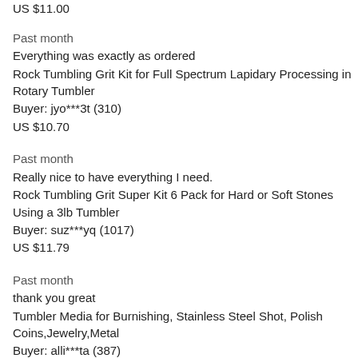US $11.00
Past month
Everything was exactly as ordered
Rock Tumbling Grit Kit for Full Spectrum Lapidary Processing in Rotary Tumbler
Buyer: jyo***3t (310)
US $10.70
Past month
Really nice to have everything I need.
Rock Tumbling Grit Super Kit 6 Pack for Hard or Soft Stones Using a 3lb Tumbler
Buyer: suz***yq (1017)
US $11.79
Past month
thank you great
Tumbler Media for Burnishing, Stainless Steel Shot, Polish Coins,Jewelry,Metal
Buyer: alli***ta (387)